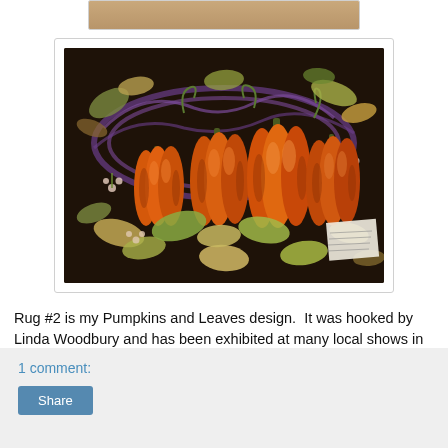[Figure (photo): Partial view of a wooden surface or shelf at the top of the page (cropped).]
[Figure (photo): Hooked rug featuring a Pumpkins and Leaves design. The rug shows four large orange pumpkins in the center surrounded by autumn leaves (green, tan, yellow) and berries on a dark brown/black background with purple swirling accents. A small label card is visible in the lower right corner.]
Rug #2 is my Pumpkins and Leaves design.  It was hooked by Linda Woodbury and has been exhibited at many local shows in New Jersey.  The rug is 28 x 40."
1 comment:
Share